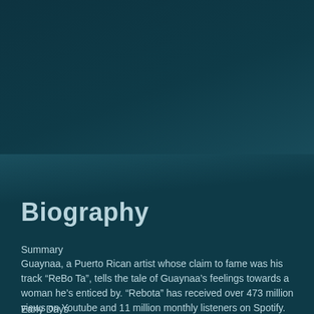Biography
Summary
Guaynaa, a Puerto Rican artist whose claim to fame was his track “ReBo Ta”, tells the tale of Guaynaa’s feelings towards a woman he’s enticed by. “Rebota” has received over 473 million views on Youtube and 11 million monthly listeners on Spotify.
Early Days
Born in Caguas, Puerto Rico as “Jean Carlos Santiago